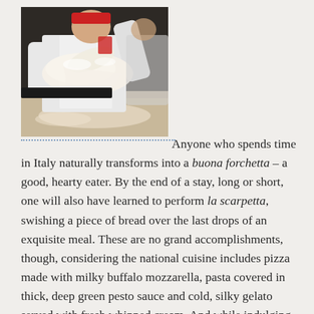[Figure (photo): A chef in white uniform stretching pizza dough on a floured surface in a kitchen.]
Anyone who spends time in Italy naturally transforms into a buona forchetta – a good, hearty eater. By the end of a stay, long or short, one will also have learned to perform la scarpetta, swishing a piece of bread over the last drops of an exquisite meal. These are no grand accomplishments, though, considering the national cuisine includes pizza made with milky buffalo mozzarella, pasta covered in thick, deep green pesto sauce and cold, silky gelato served with fresh whipped cream. And while indulging one's taste buds is unarguably a